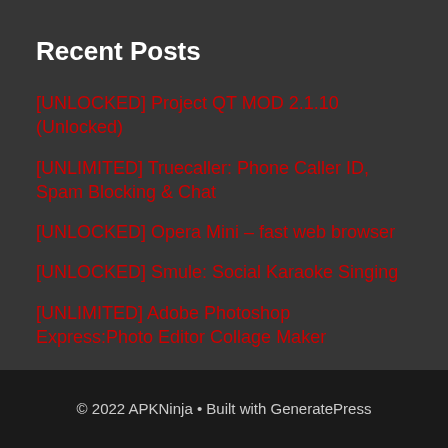Recent Posts
[UNLOCKED] Project QT MOD 2.1.10 (Unlocked)
[UNLIMITED] Truecaller: Phone Caller ID, Spam Blocking & Chat
[UNLOCKED] Opera Mini – fast web browser
[UNLOCKED] Smule: Social Karaoke Singing
[UNLIMITED] Adobe Photoshop Express:Photo Editor Collage Maker
© 2022 APKNinja • Built with GeneratePress